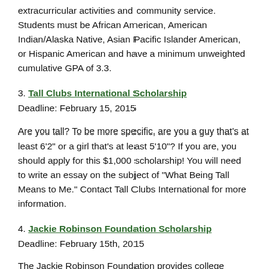extracurricular activities and community service. Students must be African American, American Indian/Alaska Native, Asian Pacific Islander American, or Hispanic American and have a minimum unweighted cumulative GPA of 3.3.
3. Tall Clubs International Scholarship
Deadline: February 15, 2015

Are you tall? To be more specific, are you a guy that’s at least 6’2” or a girl that’s at least 5’10”? If you are, you should apply for this $1,000 scholarship! You will need to write an essay on the subject of “What Being Tall Means to Me.” Contact Tall Clubs International for more information.
4. Jackie Robinson Foundation Scholarship
Deadline: February 15th, 2015

The Jackie Robinson Foundation provides college scholarships of up to $24,000 over four years to minority